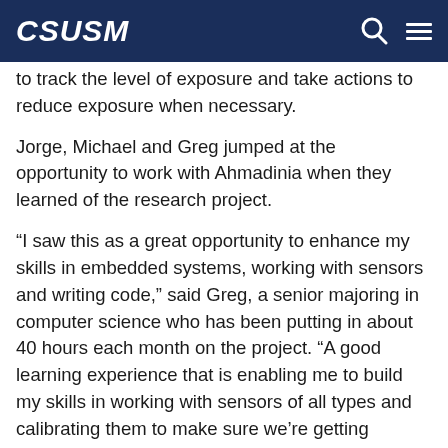CSUSM
to track the level of exposure and take actions to reduce exposure when necessary.
Jorge, Michael and Greg jumped at the opportunity to work with Ahmadinia when they learned of the research project.
“I saw this as a great opportunity to enhance my skills in embedded systems, working with sensors and writing code,” said Greg, a senior majoring in computer science who has been putting in about 40 hours each month on the project. “A good learning experience that is enabling me to build my skills in working with sensors of all types and calibrating them to make sure we’re getting reliable readings. We’re expanding our knowledge quite a bit.”